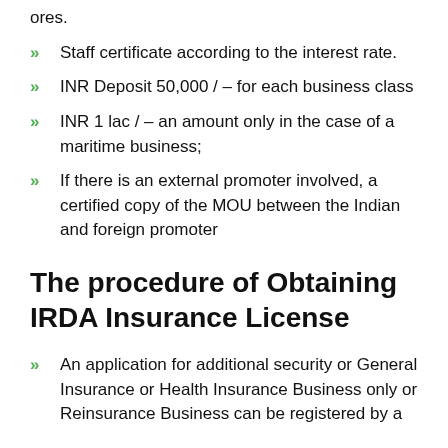ores.
Staff certificate according to the interest rate.
INR Deposit 50,000 / – for each business class
INR 1 lac / – an amount only in the case of a maritime business;
If there is an external promoter involved, a certified copy of the MOU between the Indian and foreign promoter
The procedure of Obtaining IRDA Insurance License
An application for additional security or General Insurance or Health Insurance Business only or Reinsurance Business can be registered by a